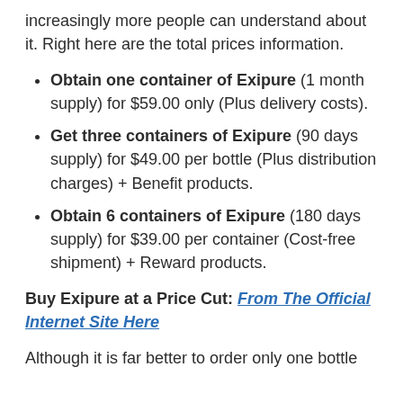increasingly more people can understand about it. Right here are the total prices information.
Obtain one container of Exipure (1 month supply) for $59.00 only (Plus delivery costs).
Get three containers of Exipure (90 days supply) for $49.00 per bottle (Plus distribution charges) + Benefit products.
Obtain 6 containers of Exipure (180 days supply) for $39.00 per container (Cost-free shipment) + Reward products.
Buy Exipure at a Price Cut: From The Official Internet Site Here
Although it is far better to order only one bottle